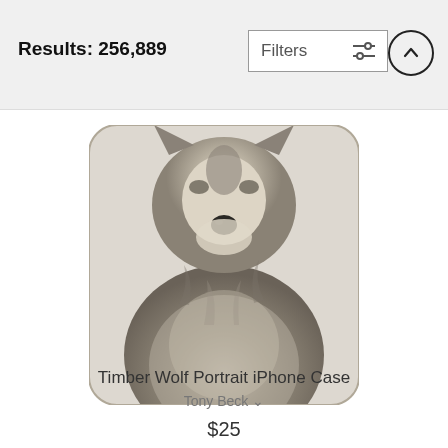Results: 256,889
[Figure (screenshot): Filters button with sliders icon and an up-arrow circle button in top navigation bar]
[Figure (photo): iPhone case product image showing a Timber Wolf portrait photo printed on a phone case with rounded corners]
Timber Wolf Portrait iPhone Case
Tony Beck ∨
$25